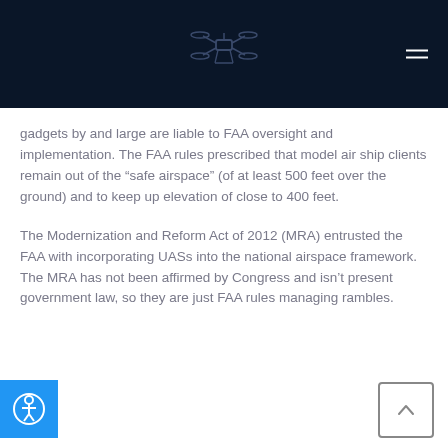gadgets by and large are liable to FAA oversight and implementation. The FAA rules prescribed that model air ship clients remain out of the “safe airspace” (of at least 500 feet over the ground) and to keep up elevation of close to 400 feet.
The Modernization and Reform Act of 2012 (MRA) entrusted the FAA with incorporating UASs into the national airspace framework. The MRA has not been affirmed by Congress and isn’t present government law, so they are just FAA rules managing rambles.